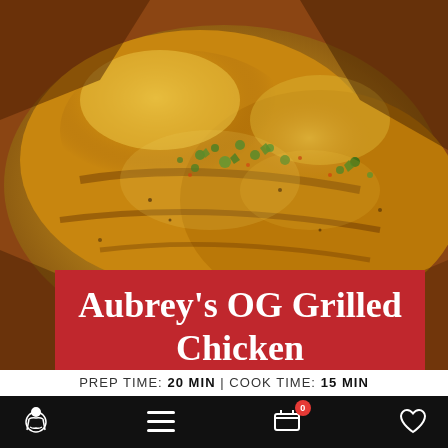[Figure (photo): Close-up photo of grilled chicken with golden-brown skin, topped with chopped fresh herbs (parsley/basil) and red pepper flakes, glistening with juices]
Aubrey’s OG Grilled Chicken
PREP TIME: 20 MIN | COOK TIME: 15 MIN
INGREDIENTS
Accessibility | Menu | Cart (0) | Favorite